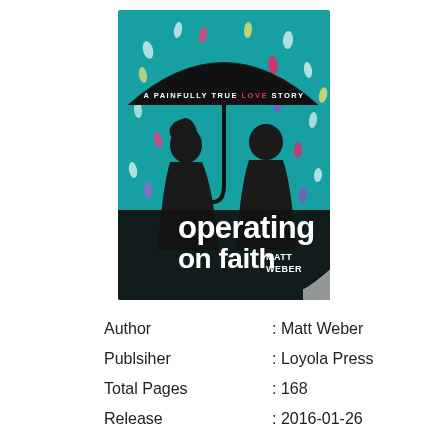[Figure (illustration): Book cover of 'Operating on Faith' by Matt Weber. Teal background with colorful raindrops, two silhouettes under a black umbrella. Text reads 'A Painfully True Love Story' at top (with LOVE in red/pink), and 'operating on faith MATT WEBER' at bottom in white bold text.]
| Author | : Matt Weber |
| Publsiher | : Loyola Press |
| Total Pages | : 168 |
| Release | : 2016-01-26 |